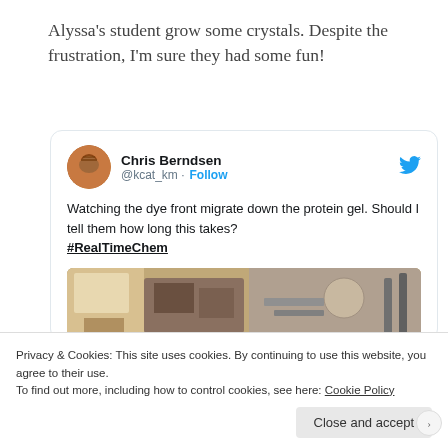Alyssa's student grow some crystals. Despite the frustration, I'm sure they had some fun!
[Figure (screenshot): Embedded tweet from Chris Berndsen (@kcat_km) with Follow button and Twitter bird icon. Tweet text: 'Watching the dye front migrate down the protein gel. Should I tell them how long this takes? #RealTimeChem'. A laboratory photo is partially visible below the tweet text.]
Privacy & Cookies: This site uses cookies. By continuing to use this website, you agree to their use.
To find out more, including how to control cookies, see here: Cookie Policy